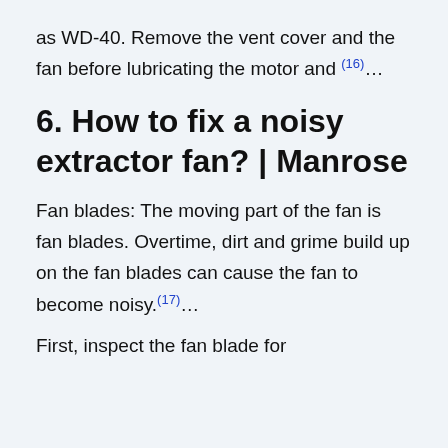as WD-40. Remove the vent cover and the fan before lubricating the motor and (16)…
6. How to fix a noisy extractor fan? | Manrose
Fan blades: The moving part of the fan is fan blades. Overtime, dirt and grime build up on the fan blades can cause the fan to become noisy.(17)…
First, inspect the fan blade for